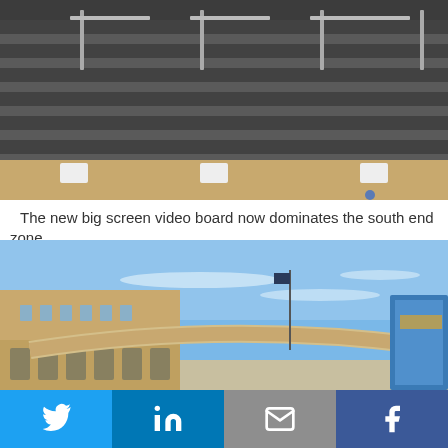[Figure (photo): Stadium seating rows with dark seats and metal railings, cropped view from top portion of stadium bleachers]
The new big screen video board now dominates the south end zone
[Figure (photo): Exterior view of a brick stadium building under blue sky with light clouds, flagpole with dark flag, modern glass addition visible on right]
[Figure (infographic): Social sharing bar with four buttons: Twitter (blue), LinkedIn (dark blue), Email (gray), Facebook (dark blue)]